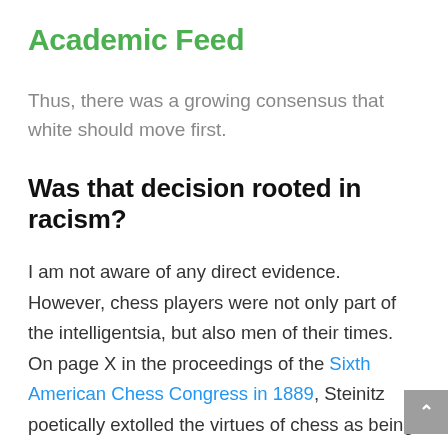Academic Feed
Thus, there was a growing consensus that white should move first.
Was that decision rooted in racism?
I am not aware of any direct evidence. However, chess players were not only part of the intelligentsia, but also men of their times. On page X in the proceedings of the Sixth American Chess Congress in 1889, Steinitz poetically extolled the virtues of chess as being among the “intellectual pastimes of